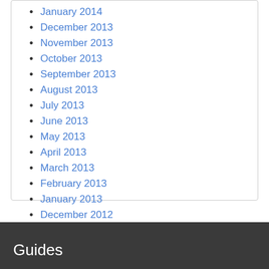January 2014
December 2013
November 2013
October 2013
September 2013
August 2013
July 2013
June 2013
May 2013
April 2013
March 2013
February 2013
January 2013
December 2012
Guides